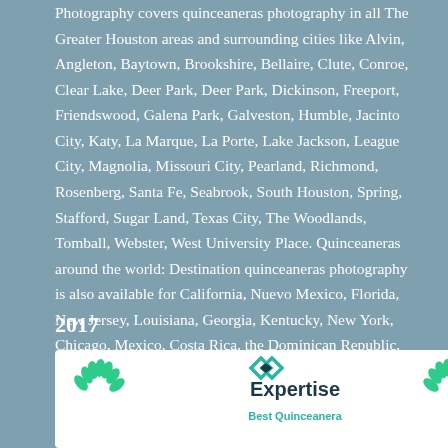Photography covers quinceaneras photography in all The Greater Houston areas and surrounding cities like Alvin, Angleton, Baytown, Brookshire, Bellaire, Clute, Conroe, Clear Lake, Deer Park, Deer Park, Dickinson, Freeport, Friendswood, Galena Park, Galveston, Humble, Jacinto City, Katy, La Marque, La Porte, Lake Jackson, League City, Magnolia, Missouri City, Pearland, Richmond, Rosenberg, Santa Fe, Seabrook, South Houston, Spring, Stafford, Sugar Land, Texas City, The Woodlands, Tomball, Webster, West University Place. Quinceaneras around the world: Destination quinceaneras photography is also available for California, Nuevo Mexico, Florida, New Jersey, Louisiana, Georgia, Kentucky, New York, Chicago, Mexico, Costa Rica, the Dominican Republic, Puerto Rico, Cuba.
2017
[Figure (logo): Expertise award badge — white card with teal diamond logo and 'Expertise' text, with green laurel branches on sides, subtitle 'Best Quinceanera']